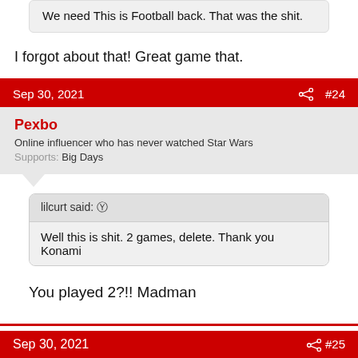We need This is Football back. That was the shit.
I forgot about that! Great game that.
Sep 30, 2021  #24
Pexbo
Online influencer who has never watched Star Wars
Supports: Big Days
lilcurt said:
Well this is shit. 2 games, delete. Thank you Konami
You played 2?!! Madman
Sep 30, 2021  #25